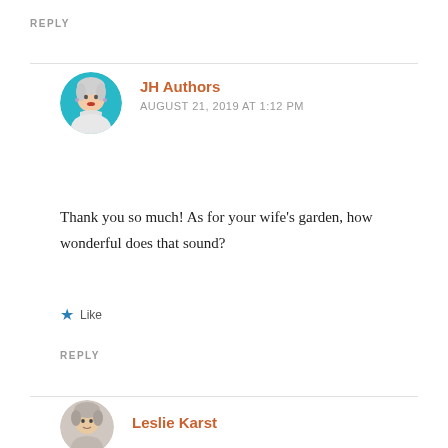REPLY
[Figure (photo): Round avatar of JH Authors — woman with white/grey hair, blue circular background]
JH Authors
AUGUST 21, 2019 AT 1:12 PM
Thank you so much! As for your wife's garden, how wonderful does that sound?
Like
REPLY
[Figure (photo): Round avatar of Leslie Karst — person with grey/white hair, partial view]
Leslie Karst